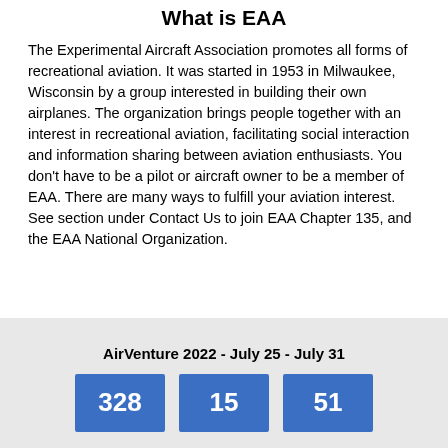What is EAA
The Experimental Aircraft Association promotes all forms of recreational aviation. It was started in 1953 in Milwaukee, Wisconsin by a group interested in building their own airplanes. The organization brings people together with an interest in recreational aviation, facilitating social interaction and information sharing between aviation enthusiasts. You don't have to be a pilot or aircraft owner to be a member of EAA. There are many ways to fulfill your aviation interest. See section under Contact Us to join EAA Chapter 135, and the EAA National Organization.
AirVenture 2022 - July 25 - July 31
[Figure (infographic): Three blue boxes showing statistics: 328, 15, 51]